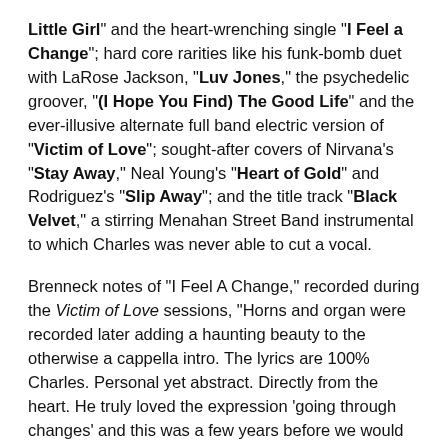Little Girl" and the heart-wrenching single "I Feel a Change"; hard core rarities like his funk-bomb duet with LaRose Jackson, "Luv Jones," the psychedelic groover, "(I Hope You Find) The Good Life" and the ever-illusive alternate full band electric version of "Victim of Love"; sought-after covers of Nirvana's "Stay Away," Neal Young's "Heart of Gold" and Rodriguez's "Slip Away"; and the title track "Black Velvet," a stirring Menahan Street Band instrumental to which Charles was never able to cut a vocal.
Brenneck notes of "I Feel A Change," recorded during the Victim of Love sessions, "Horns and organ were recorded later adding a haunting beauty to the otherwise a cappella intro. The lyrics are 100% Charles. Personal yet abstract. Directly from the heart. He truly loved the expression 'going through changes' and this was a few years before we would record our rendition of Sabbath's 'Changes' with the Budos. Sadly Charles never got to hear the finished version of this beautiful song."